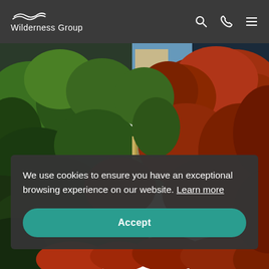Wilderness Group
[Figure (photo): Building covered in green and red ivy/climbing plants with a window and rooftop visible against a blue sky]
We use cookies to ensure you have an exceptional browsing experience on our website. Learn more
Accept